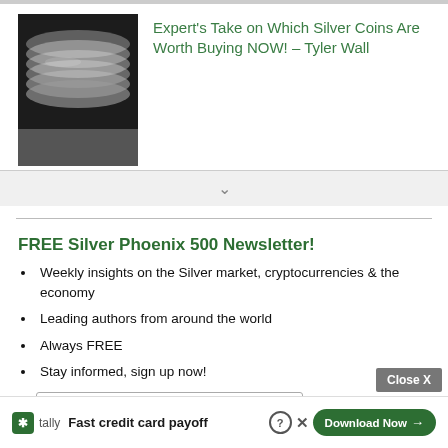[Figure (photo): Stack of silver coins, close-up, black and white tones]
Expert’s Take on Which Silver Coins Are Worth Buying NOW! – Tyler Wall
FREE Silver Phoenix 500 Newsletter!
Weekly insights on the Silver market, cryptocurrencies & the economy
Leading authors from around the world
Always FREE
Stay informed, sign up now!
[Figure (screenshot): Tally app advertisement: Fast credit card payoff, with Download Now button]